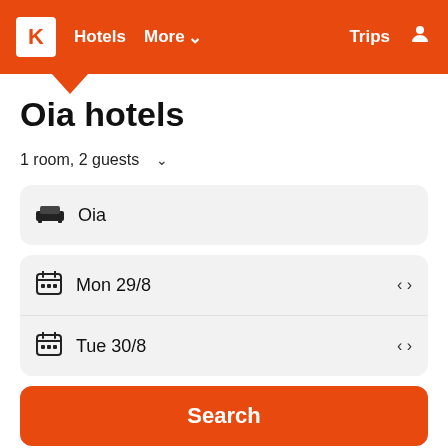K Hotels More Trips
Oia hotels
1 room, 2 guests
Oia
Mon 29/8
Tue 30/8
Search
Search hundreds of travel sites at once for hotels in Oia